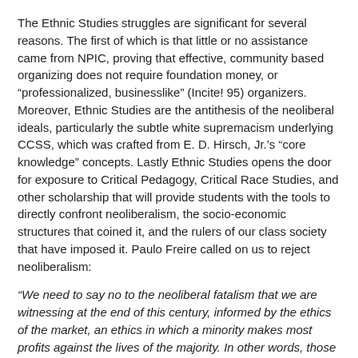The Ethnic Studies struggles are significant for several reasons. The first of which is that little or no assistance came from NPIC, proving that effective, community based organizing does not require foundation money, or “professionalized, businesslike” (Incite! 95) organizers. Moreover, Ethnic Studies are the antithesis of the neoliberal ideals, particularly the subtle white supremacism underlying CCSS, which was crafted from E. D. Hirsch, Jr.’s “core knowledge” concepts. Lastly Ethnic Studies opens the door for exposure to Critical Pedagogy, Critical Race Studies, and other scholarship that will provide students with the tools to directly confront neoliberalism, the socio-economic structures that coined it, and the rulers of our class society that have imposed it. Paulo Freire called on us to reject neoliberalism:
“We need to say no to the neoliberal fatalism that we are witnessing at the end of this century, informed by the ethics of the market, an ethics in which a minority makes most profits against the lives of the majority. In other words, those who cannot compete, die. This is a perverse ethics that, in fact, lacks ethics. I insist on saying that I continue to be human…I would then remain the last educator in the world to say no: I do not accept…history as determinism. I embrace history as possibility [where] we can demystify the evil in the perverse fatalism that characterizes the neoliberal discourse in the end of this century.”